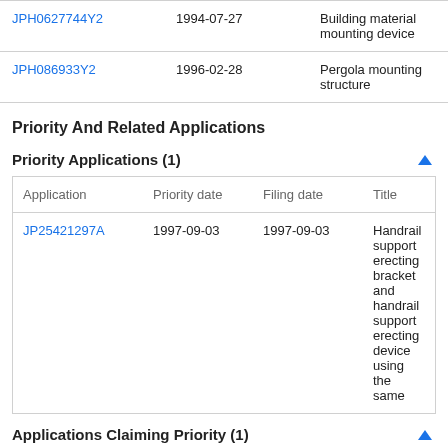| Application | Date | Title |
| --- | --- | --- |
| JPH0627744Y2 | 1994-07-27 | Building material mounting device |
| JPH086933Y2 | 1996-02-28 | Pergola mounting structure |
Priority And Related Applications
Priority Applications (1)
| Application | Priority date | Filing date | Title |
| --- | --- | --- | --- |
| JP25421297A | 1997-09-03 | 1997-09-03 | Handrail support erecting bracket and handrail support erecting device using the same |
Applications Claiming Priority (1)